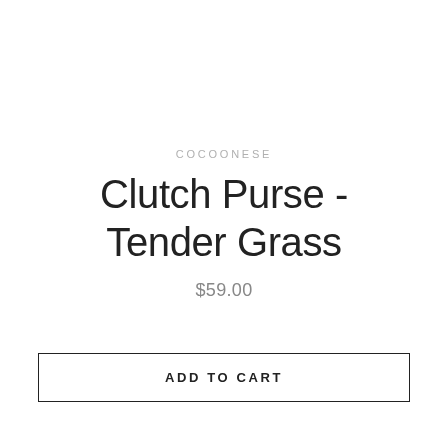COCOONESE
Clutch Purse - Tender Grass
$59.00
ADD TO CART